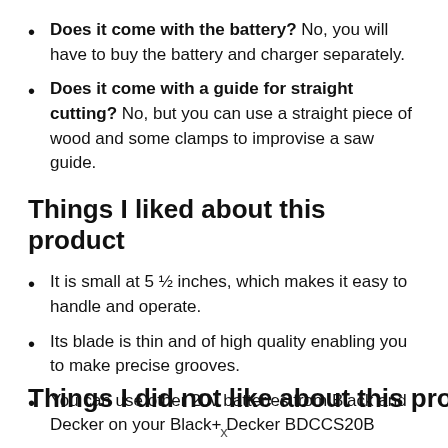Does it come with the battery? No, you will have to buy the battery and charger separately.
Does it come with a guide for straight cutting? No, but you can use a straight piece of wood and some clamps to improvise a saw guide.
Things I liked about this product
It is small at 5 ½ inches, which makes it easy to handle and operate.
Its blade is thin and of high quality enabling you to make precise grooves.
You can use other 20v batteries from Black and Decker on your Black+ Decker BDCCS20B
Things I did not like about this product
x